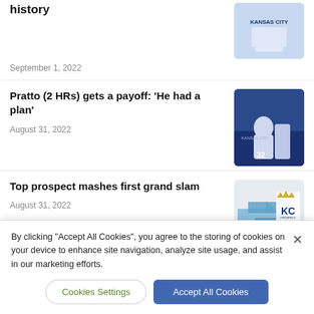history
September 1, 2022
Pratto (2 HRs) gets a payoff: 'He had a plan'
August 31, 2022
Top prospect mashes first grand slam
August 31, 2022
By clicking "Accept All Cookies", you agree to the storing of cookies on your device to enhance site navigation, analyze site usage, and assist in our marketing efforts.